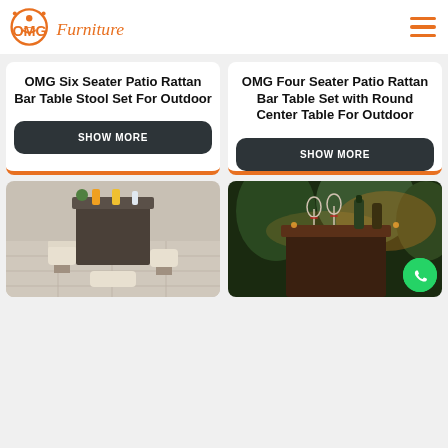OMG Furniture
OMG Six Seater Patio Rattan Bar Table Stool Set For Outdoor
OMG Four Seater Patio Rattan Bar Table Set with Round Center Table For Outdoor
[Figure (photo): Outdoor rattan bar table with stools set, aerial view on patio]
[Figure (photo): Outdoor rattan bar table set with wine glasses at night/dusk]